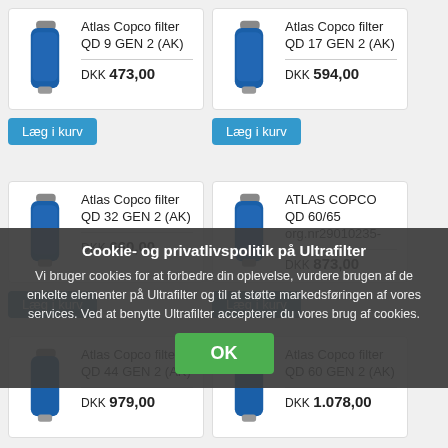[Figure (screenshot): E-commerce product listing page for Atlas Copco filters on Ultrafilter website with cookie consent popup overlay. Shows 6 product cards in a 2-column grid with blue cylindrical filter images, product names, prices in DKK, and 'Læg i kurv' (Add to cart) buttons. A dark semi-transparent cookie policy modal overlays the lower half with title 'Cookie- og privatlivspolitik på Ultrafilter', descriptive text about cookies, and a green OK button.]